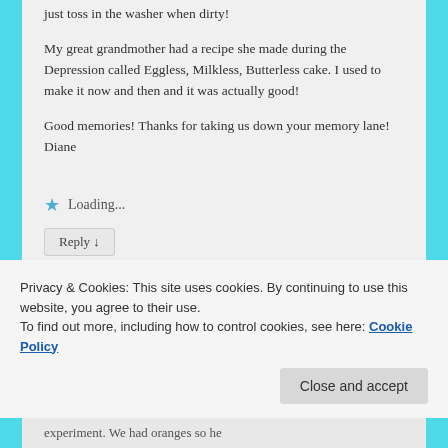just toss in the washer when dirty!

My great grandmother had a recipe she made during the Depression called Eggless, Milkless, Butterless cake. I used to make it now and then and it was actually good!

Good memories! Thanks for taking us down your memory lane!
Diane
★ Loading...
Reply ↓
Privacy & Cookies: This site uses cookies. By continuing to use this website, you agree to their use.
To find out more, including how to control cookies, see here: Cookie Policy
Close and accept
experiment. We had oranges so he